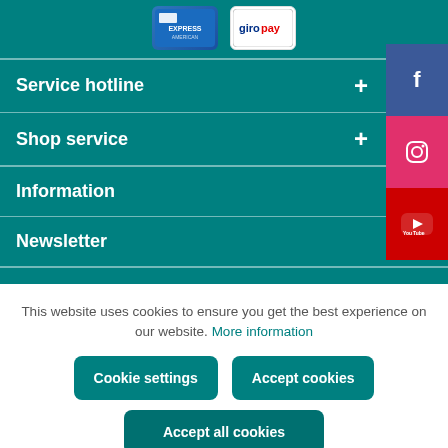[Figure (other): Payment method logos: American Express card and Giropay card]
Service hotline
Shop service
Information
Newsletter
[Figure (other): Social media sidebar buttons: Facebook, Instagram, YouTube]
This website uses cookies to ensure you get the best experience on our website. More information
Cookie settings
Accept cookies
Accept all cookies